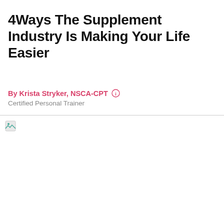4 Ways The Supplement Industry Is Making Your Life Easier
By Krista Stryker, NSCA-CPT
Certified Personal Trainer
[Figure (photo): Placeholder image area (broken image icon visible in top-left corner)]